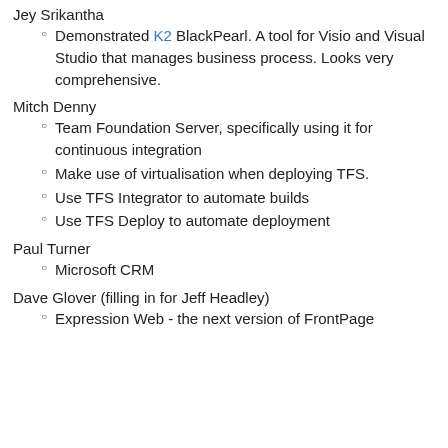Jey Srikantha
Demonstrated K2 BlackPearl. A tool for Visio and Visual Studio that manages business process. Looks very comprehensive.
Mitch Denny
Team Foundation Server, specifically using it for continuous integration
Make use of virtualisation when deploying TFS.
Use TFS Integrator to automate builds
Use TFS Deploy to automate deployment
Paul Turner
Microsoft CRM
Dave Glover (filling in for Jeff Headley)
Expression Web - the next version of FrontPage